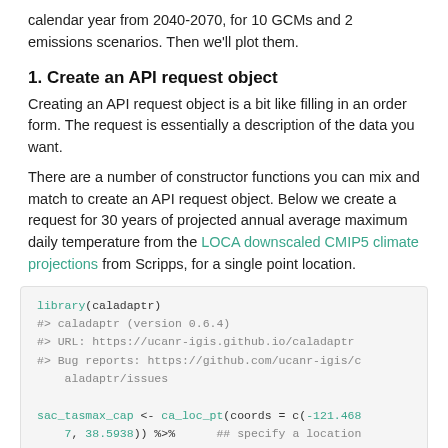calendar year from 2040-2070, for 10 GCMs and 2 emissions scenarios. Then we'll plot them.
1. Create an API request object
Creating an API request object is a bit like filling in an order form. The request is essentially a description of the data you want.
There are a number of constructor functions you can mix and match to create an API request object. Below we create a request for 30 years of projected annual average maximum daily temperature from the LOCA downscaled CMIP5 climate projections from Scripps, for a single point location.
[Figure (screenshot): Code block showing R library call and function call: library(caladaptr) with output comments and sac_tasmax_cap <- ca_loc_pt(coords = c(-121.4687, 38.5938)) %>% ## specify a location followed by truncated line starting with ca_gcm(c("HadGEM2_ES", "CNRM_CM5", "CanESM]